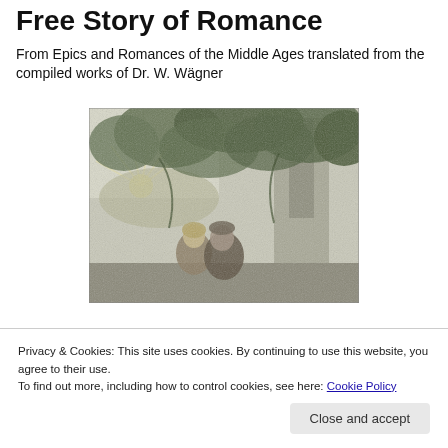Free Story of Romance
From Epics and Romances of the Middle Ages translated from the compiled works of Dr. W. Wägner
[Figure (illustration): A romantic medieval engraving showing two figures resting beneath overgrown stone ruins and lush foliage, with a sunrise landscape in the background.]
Privacy & Cookies: This site uses cookies. By continuing to use this website, you agree to their use.
To find out more, including how to control cookies, see here: Cookie Policy